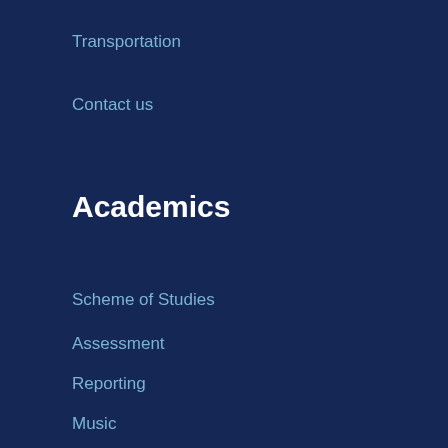Transportation
Contact us
Academics
Scheme of Studies
Assessment
Reporting
Music
Library
Laboratories
Contact Us